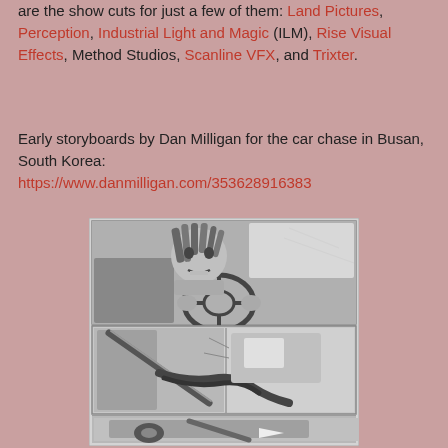are the show cuts for just a few of them: Land Pictures, Perception, Industrial Light and Magic (ILM), Rise Visual Effects, Method Studios, Scanline VFX, and Trixter.
Early storyboards by Dan Milligan for the car chase in Busan, South Korea:
https://www.danmilligan.com/353628916383
[Figure (illustration): Storyboard panels in black and white showing a car chase scene. Top panel: a woman with dreadlocks gripping a steering wheel, snarling. Middle panel: action shot with weapons. Bottom panel: close-up of car wheel.]